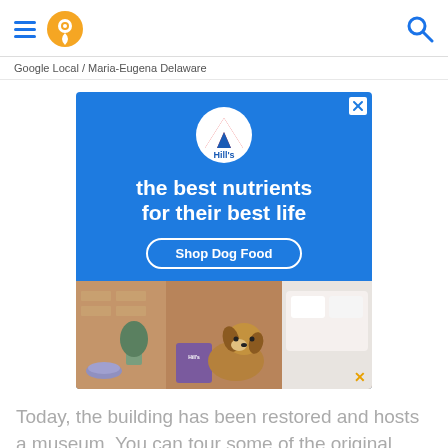Google Local / Maria-Eugena Delaware
[Figure (illustration): Hill's pet nutrition advertisement on a blue background showing the Hill's logo, headline 'the best nutrients for their best life', a 'Shop Dog Food' button, and a photo of a dog with dog food bag in a home setting]
Today, the building has been restored and hosts a museum. You can tour some of the original quarters, like this officer's room, dating back to